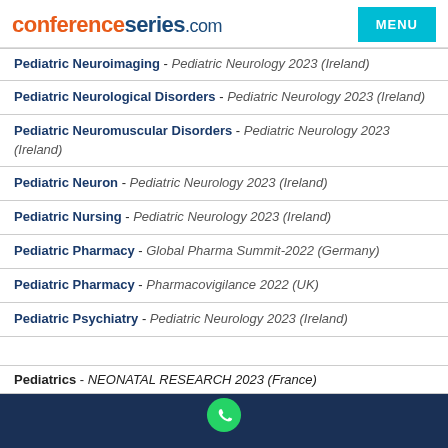conferenceseries.com | MENU
Pediatric Neuroimaging - Pediatric Neurology 2023 (Ireland)
Pediatric Neurological Disorders - Pediatric Neurology 2023 (Ireland)
Pediatric Neuromuscular Disorders - Pediatric Neurology 2023 (Ireland)
Pediatric Neuron - Pediatric Neurology 2023 (Ireland)
Pediatric Nursing - Pediatric Neurology 2023 (Ireland)
Pediatric Pharmacy - Global Pharma Summit-2022 (Germany)
Pediatric Pharmacy - Pharmacovigilance 2022 (UK)
Pediatric Psychiatry - Pediatric Neurology 2023 (Ireland)
Pediatrics - NEONATAL RESEARCH 2023 (France)